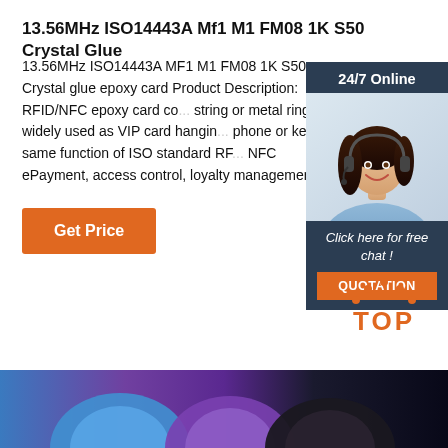13.56MHz ISO14443A Mf1 M1 FM08 1K S50 Crystal Glue
13.56MHz ISO14443A MF1 M1 FM08 1K S50 Crystal glue epoxy card Product Description: RFID/NFC epoxy card co... string or metal ring, widely used as VIP card hangin... phone or key, do same function of ISO standard RF... NFC ePayment, access control, loyalty managemen...
[Figure (other): Get Price orange button]
[Figure (other): 24/7 Online chat widget with customer service representative photo, 'Click here for free chat!' text, and QUOTATION button]
[Figure (logo): TOP logo with orange dots arranged in arc above orange TOP text]
[Figure (photo): Bottom strip showing colorful product images - blue, purple, black crystal glue keyfob cards/tags]